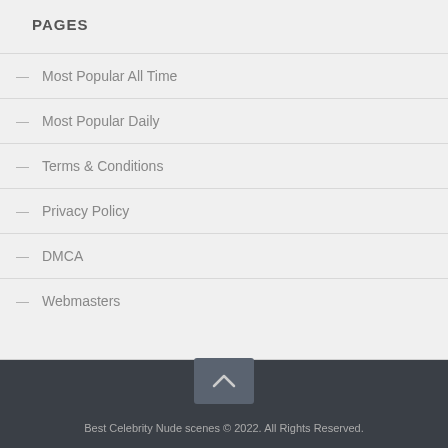PAGES
Most Popular All Time
Most Popular Daily
Terms & Conditions
Privacy Policy
DMCA
Webmasters
Best Celebrity Nude scenes © 2022. All Rights Reserved.